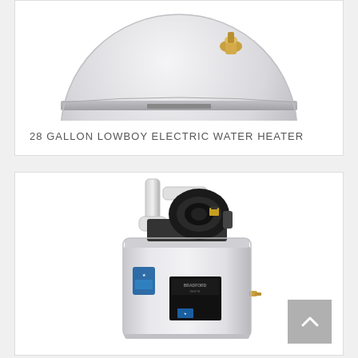[Figure (photo): Top portion of a white electric water heater tank (lowboy style) showing the top with a brass fitting/valve, on a white background]
28 GALLON LOWBOY ELECTRIC WATER HEATER
[Figure (photo): A tall white Bradford White gas water heater with a black blower/motor assembly on top, white PVC pipes, blue Energy Star sticker and product labels on the tank body]